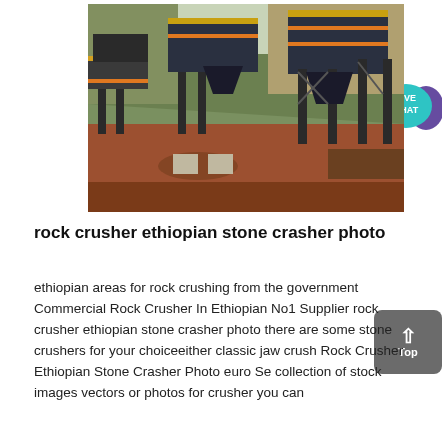[Figure (photo): Photograph of an industrial rock crushing / stone crusher facility with large steel-frame elevated structures and machinery, set against a hillside with red-brown excavated earth in the foreground.]
rock crusher ethiopian stone crasher photo
ethiopian areas for rock crushing from the government Commercial Rock Crusher In Ethiopian No1 Supplier rock crusher ethiopian stone crasher photo there are some stone crushers for your choiceeither classic jaw crush Rock Crusher Ethiopian Stone Crasher Photo euro Se collection of stock images vectors or photos for crusher you can